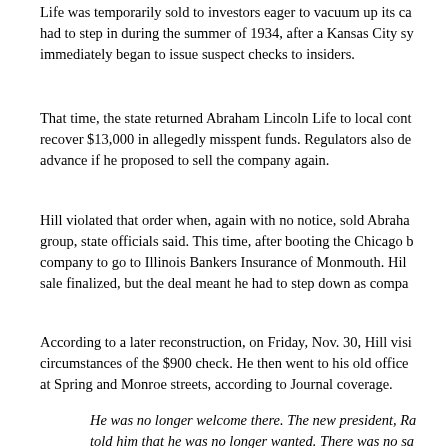Life was temporarily sold to investors eager to vacuum up its ca had to step in during the summer of 1934, after a Kansas City sy immediately began to issue suspect checks to insiders.
That time, the state returned Abraham Lincoln Life to local cont recover $13,000 in allegedly misspent funds. Regulators also de advance if he proposed to sell the company again.
Hill violated that order when, again with no notice, sold Abraha group, state officials said. This time, after booting the Chicago b company to go to Illinois Bankers Insurance of Monmouth. Hil sale finalized, but the deal meant he had to step down as compa
According to a later reconstruction, on Friday, Nov. 30, Hill visi circumstances of the $900 check. He then went to his old office at Spring and Monroe streets, according to Journal coverage.
He was no longer welcome there. The new president, Ra told him that he was no longer wanted. There was no sa